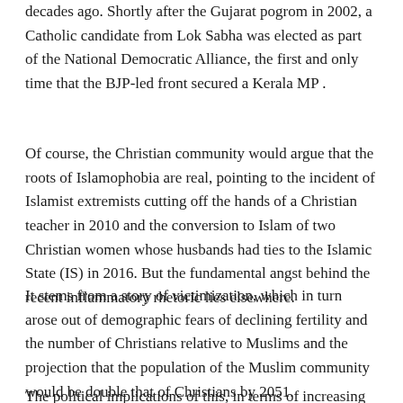decades ago. Shortly after the Gujarat pogrom in 2002, a Catholic candidate from Lok Sabha was elected as part of the National Democratic Alliance, the first and only time that the BJP-led front secured a Kerala MP .
Of course, the Christian community would argue that the roots of Islamophobia are real, pointing to the incident of Islamist extremists cutting off the hands of a Christian teacher in 2010 and the conversion to Islam of two Christian women whose husbands had ties to the Islamic State (IS) in 2016. But the fundamental angst behind the recent inflammatory rhetoric lies elsewhere.
It stems from a story of victimization, which in turn arose out of demographic fears of declining fertility and the number of Christians relative to Muslims and the projection that the population of the Muslim community would be double that of Christians by 2051.
The political implications of this, in terms of increasing the